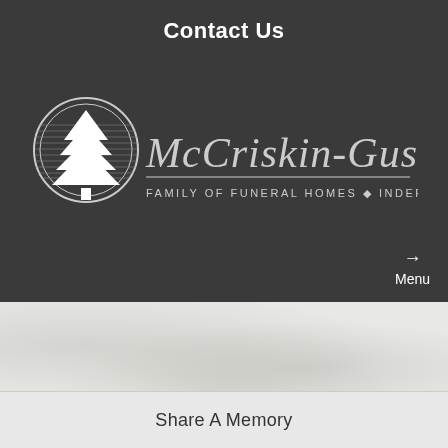Contact Us
[Figure (logo): McCriskin-Gustafson Family of Funeral Homes logo with circular tree emblem and script text]
Menu →
SIGN IN
Share A Memory